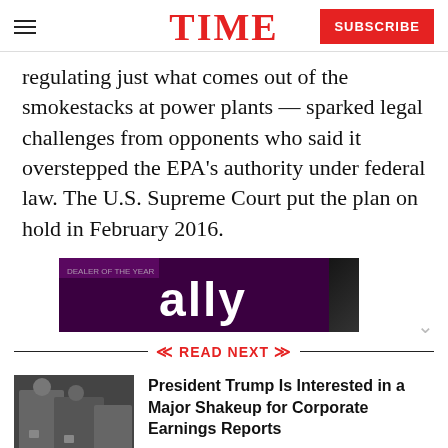TIME | SUBSCRIBE
regulating just what comes out of the smokestacks at power plants — sparked legal challenges from opponents who said it overstepped the EPA's authority under federal law. The U.S. Supreme Court put the plan on hold in February 2016.
[Figure (photo): Advertisement banner with purple/dark background showing partial text 'ally']
READ NEXT
[Figure (photo): Thumbnail photo of President Trump in a meeting room]
President Trump Is Interested in a Major Shakeup for Corporate Earnings Reports